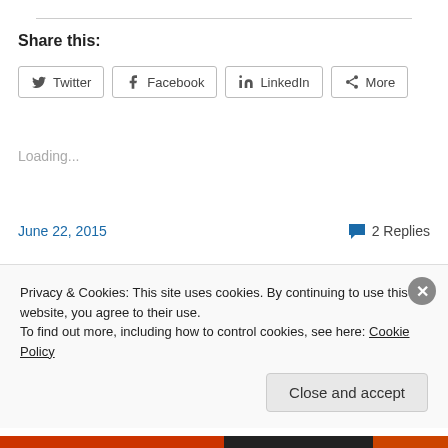Share this:
Twitter  Facebook  LinkedIn  More
Loading...
June 22, 2015
2 Replies
Birthday Blues
Privacy & Cookies: This site uses cookies. By continuing to use this website, you agree to their use.
To find out more, including how to control cookies, see here: Cookie Policy